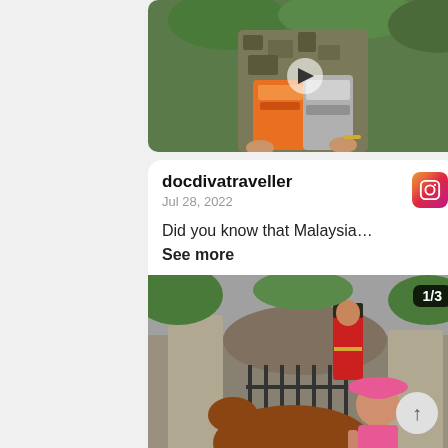[Figure (photo): Top portion of social media post showing a woman in camouflage top holding orange and silver food packages, cropped at top]
docdivatraveller
Jul 28, 2022
[Figure (logo): Instagram logo icon]
Did you know that Malaysia…
See more
[Figure (photo): Photo showing a woman in pink hat and pink top standing next to a horse with a guard in red uniform in the background. Counter shows 1/3.]